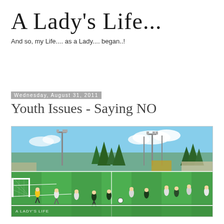A Lady's Life...
And so, my Life.... as a Lady.... began..!
Wednesday, August 31, 2011
Youth Issues - Saying NO
[Figure (photo): Youth soccer match on a green artificial turf field with players in white and dark jerseys, a goal on the left, stadium lights and tall trees in the background. Watermark reads A LADY'S LIFE in bottom left corner.]